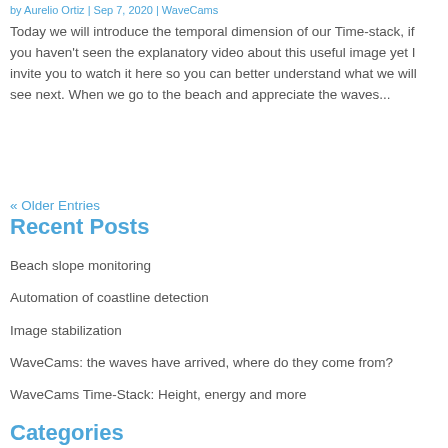by Aurelio Ortiz | Sep 7, 2020 | WaveCams
Today we will introduce the temporal dimension of our Time-stack, if you haven't seen the explanatory video about this useful image yet I invite you to watch it here so you can better understand what we will see next. When we go to the beach and appreciate the waves...
« Older Entries
Recent Posts
Beach slope monitoring
Automation of coastline detection
Image stabilization
WaveCams: the waves have arrived, where do they come from?
WaveCams Time-Stack: Height, energy and more
Categories